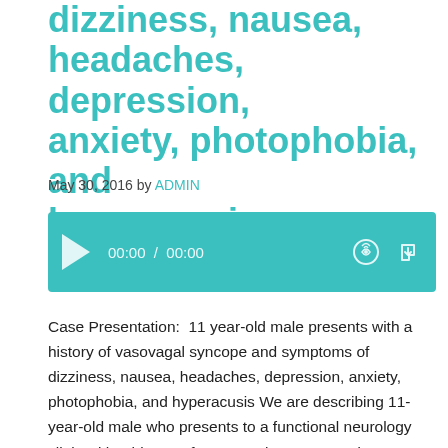dizziness, nausea, headaches, depression, anxiety, photophobia, and hyperacusis
May 30, 2016 by ADMIN
[Figure (other): Audio player widget with teal background, play button, time display showing 00:00 / 00:00, and icons for streaming and download.]
Case Presentation:  11 year-old male presents with a history of vasovagal syncope and symptoms of dizziness, nausea, headaches, depression, anxiety, photophobia, and hyperacusis We are describing 11-year-old male who presents to a functional neurology clinic with a history of vasovagal syncope and symptoms of dizziness, nausea, headaches, depression, anxiety, photophobia, and